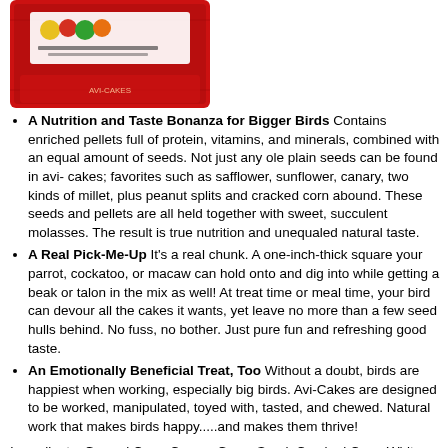[Figure (photo): Red product packaging bag with colorful logo/label for bird food (Avi-Cakes)]
A Nutrition and Taste Bonanza for Bigger Birds Contains enriched pellets full of protein, vitamins, and minerals, combined with an equal amount of seeds. Not just any ole plain seeds can be found in avi- cakes; favorites such as safflower, sunflower, canary, two kinds of millet, plus peanut splits and cracked corn abound. These seeds and pellets are all held together with sweet, succulent molasses. The result is true nutrition and unequaled natural taste.
A Real Pick-Me-Up It's a real chunk. A one-inch-thick square your parrot, cockatoo, or macaw can hold onto and dig into while getting a beak or talon in the mix as well! At treat time or meal time, your bird can devour all the cakes it wants, yet leave no more than a few seed hulls behind. No fuss, no bother. Just pure fun and refreshing good taste.
An Emotionally Beneficial Treat, Too Without a doubt, birds are happiest when working, especially big birds. Avi-Cakes are designed to be worked, manipulated, toyed with, tasted, and chewed. Natural work that makes birds happy.....and makes them thrive!
Ingredients: Ground Corn, Canary Grass Seed, Cracked Corn, White Proso Millet, Safflower Seeds, Sugar, Soybean Meal, Cane Molasses, Propylene Glycol, Peanuts, Red Millet, Ground Limestone, Glycerine, Whole Egg, Rolled Oats, Corn Oil